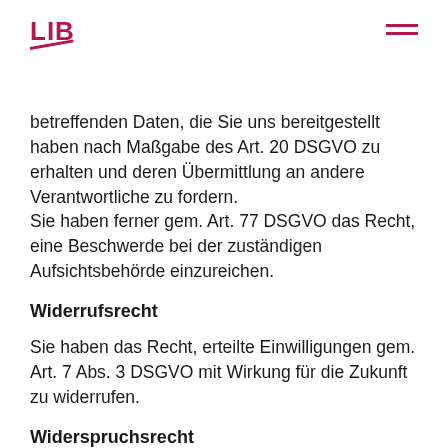LIB
betreffenden Daten, die Sie uns bereitgestellt haben nach Maßgabe des Art. 20 DSGVO zu erhalten und deren Übermittlung an andere Verantwortliche zu fordern.
Sie haben ferner gem. Art. 77 DSGVO das Recht, eine Beschwerde bei der zuständigen Aufsichtsbehörde einzureichen.
Widerrufsrecht
Sie haben das Recht, erteilte Einwilligungen gem. Art. 7 Abs. 3 DSGVO mit Wirkung für die Zukunft zu widerrufen.
Widerspruchsrecht